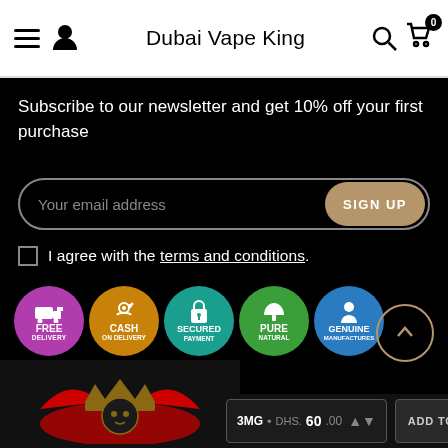Dubai Vape King
Subscribe to our newsletter and get 10% off your first purchase
Your email address | SIGN UP
I agree with the terms and conditions.
[Figure (logo): Five circular trust badge icons: FREE DELIVERY (purple), CASH ON DELIVERY (gold), SECURED PAYMENT (teal), PURE NATURAL (green), GENUINE MANUFACTURES (blue)]
[Figure (logo): Dubai Vape King logo — crown and lion face on dark background]
3MG • DHS. 60.00  ADD TO CART